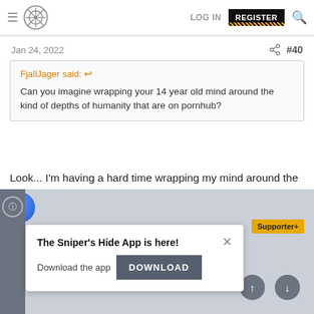LOG IN  REGISTER
Jan 24, 2022  #40
FjallJager said: Can you imagine wrapping your 14 year old mind around the kind of depths of humanity that are on pornhub?
Look... I'm having a hard time wrapping my mind around the fact that these dudes could pipe my house with their manhood and all I got is what women tend to call "the perfect size". 😢
[Figure (screenshot): App download popup: The Sniper's Hide App is here! Download the app DOWNLOAD button]
Supporter+